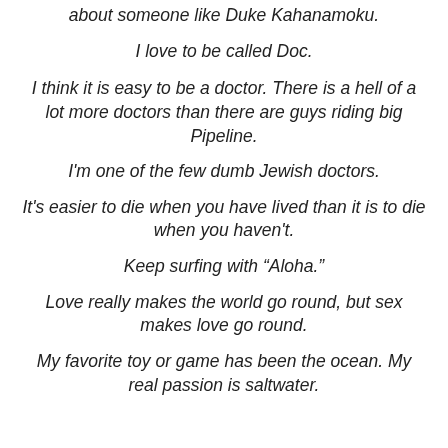about someone like Duke Kahanamoku.
I love to be called Doc.
I think it is easy to be a doctor. There is a hell of a lot more doctors than there are guys riding big Pipeline.
I'm one of the few dumb Jewish doctors.
It's easier to die when you have lived than it is to die when you haven't.
Keep surfing with “Aloha.”
Love really makes the world go round, but sex makes love go round.
My favorite toy or game has been the ocean. My real passion is saltwater.